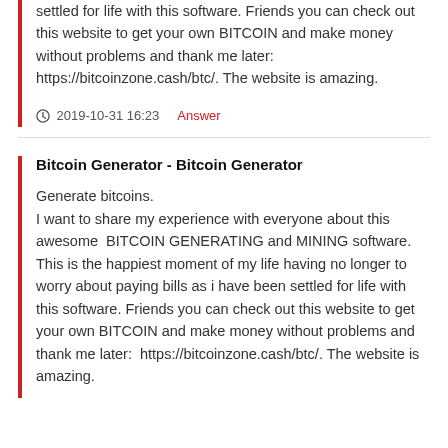settled for life with this software. Friends you can check out this website to get your own BITCOIN and make money without problems and thank me later:  https://bitcoinzone.cash/btc/. The website is amazing.
2019-10-31 16:23   Answer
Bitcoin Generator - Bitcoin Generator
Generate bitcoins.
I want to share my experience with everyone about this awesome  BITCOIN GENERATING and MINING software.  This is the happiest moment of my life having no longer to worry about paying bills as i have been settled for life with this software. Friends you can check out this website to get your own BITCOIN and make money without problems and thank me later:  https://bitcoinzone.cash/btc/. The website is amazing.